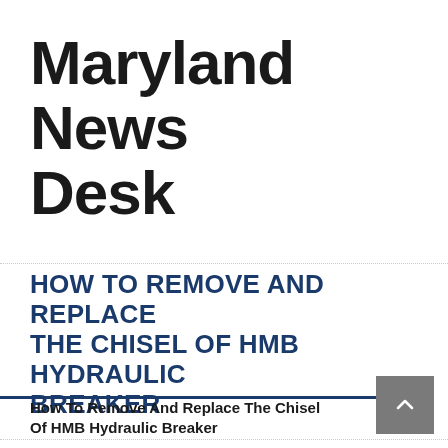Maryland News Desk
HOW TO REMOVE AND REPLACE THE CHISEL OF HMB HYDRAULIC BREAKER
How To Remove And Replace The Chisel Of HMB Hydraulic Breaker